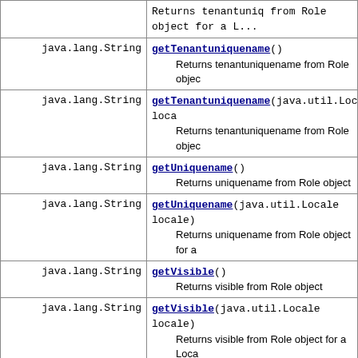| Type | Method and Description |
| --- | --- |
| java.lang.String | getTenantuniquename()
    Returns tenantuniquename from Role object |
| java.lang.String | getTenantuniquename(java.util.Locale loca...
    Returns tenantuniquename from Role objec... |
| java.lang.String | getUniquename()
    Returns uniquename from Role object |
| java.lang.String | getUniquename(java.util.Locale locale)
    Returns uniquename from Role object for a... |
| java.lang.String | getVisible()
    Returns visible from Role object |
| java.lang.String | getVisible(java.util.Locale locale)
    Returns visible from Role object for a Loca... |
| void | setCommonname(java.lang.String value) |
| void | setCommonname(java.lang.String value,
java.util.Map<java.lang.String,java.lang....
    Sets commonname This method updates th...
Attribute Authority |
| void | setDescription(java.lang.String value) |
| void | setDescription(java.lang.String value,
java.util.Map<java.lang.String,java.lang.... |